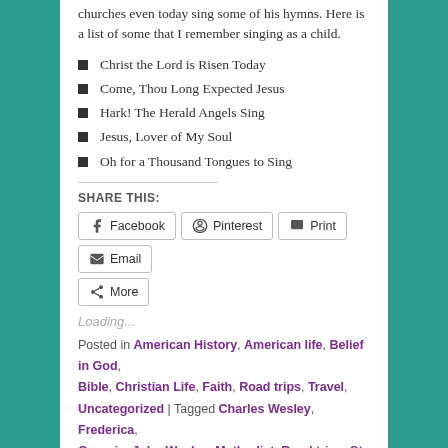churches even today sing some of his hymns. Here is a list of some that I remember singing as a child.
Christ the Lord is Risen Today
Come, Thou Long Expected Jesus
Hark! The Herald Angels Sing
Jesus, Lover of My Soul
Oh for a Thousand Tongues to Sing
SHARE THIS:
Facebook | Pinterest | Print | Email | More
Loading...
Posted in American History, American life, Belief in God, Bible, Christian Life, Faith, Road trips, Travel, Uncategorized | Tagged Charles Wesley, Frederica, Georgia, John Wesley, Methodist, Road trips, St Simons Island, Travel, Wesley Garden | 1 Reply